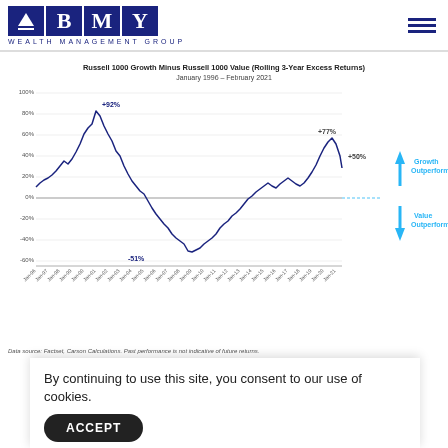BMY Wealth Management Group
[Figure (line-chart): Line chart showing rolling 3-year excess returns of Russell 1000 Growth minus Russell 1000 Value from Jan 1996 to Feb 2021. Peak of +92% around 2000, trough of -51% around 2006-2007, recent peak of +77% around 2020, current +50%. Annotations: Growth Outperforms (upward blue arrow), Value Outperforms (downward blue arrow).]
Data source: Factset, Carson Calculations. Past performance is not indicative of future returns.
By continuing to use this site, you consent to our use of cookies.